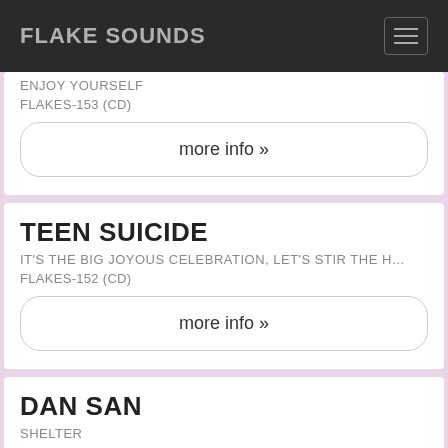FLAKE SOUNDS
ENJOY YOURSELF
FLAKES-153 (CD)
more info »
TEEN SUICIDE
IT'S THE BIG JOYOUS CELEBRATION, LET'S STIR THE H…
FLAKES-152 (CD)
more info »
DAN SAN
SHELTER
FLAKES-151 (CD)